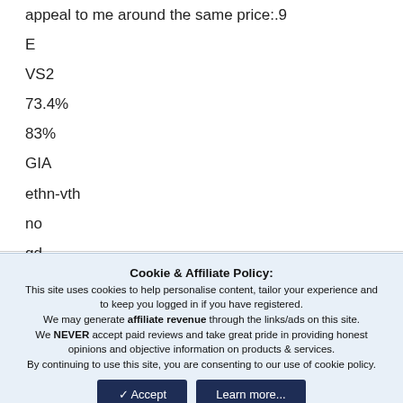appeal to me around the same price:.9
E
VS2
73.4%
83%
GIA
ethn-vth
no
gd
gd
no
Cookie & Affiliate Policy: This site uses cookies to help personalise content, tailor your experience and to keep you logged in if you have registered. We may generate affiliate revenue through the links/ads on this site. We NEVER accept paid reviews and take great pride in providing honest opinions and objective information on products & services. By continuing to use this site, you are consenting to our use of cookie policy.